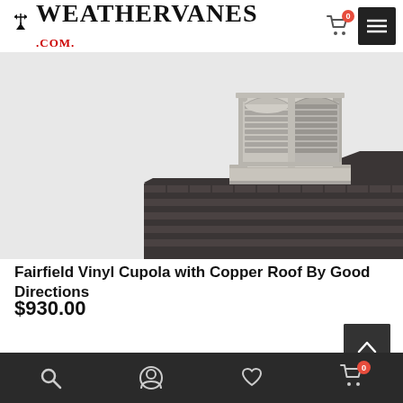[Figure (logo): Weathervanes.com logo with compass weathervane icon above letter W]
[Figure (photo): Fairfield vinyl cupola with louvered vents on dark shingle roof]
Fairfield Vinyl Cupola with Copper Roof By Good Directions
$930.00
[Figure (other): Out of stock button with teal background, scroll-up arrow button in dark gray]
Bottom navigation bar with search, account, wishlist, and cart icons